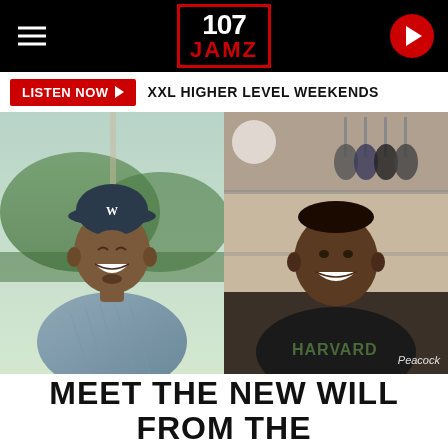107 JAMZ
LISTEN NOW ▶  XXL HIGHER LEVEL WEEKENDS
[Figure (photo): Split-screen video showing two men laughing and smiling. Left side shows a man in a blue patterned shirt and navy cap with a W logo, sitting in front of large windows with a mountain/forest view. Right side shows a young man in a black Harvard sweatshirt against a closet background. 'Peacock' watermark in lower right.]
MEET THE NEW WILL FROM THE